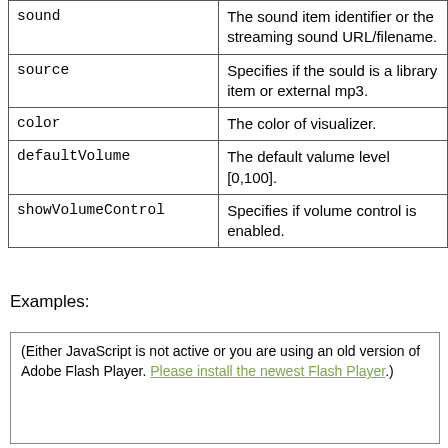|  |  |
| --- | --- |
| sound | The sound item identifier or the streaming sound URL/filename. |
| source | Specifies if the sould is a library item or external mp3. |
| color | The color of visualizer. |
| defaultVolume | The default valume level [0,100]. |
| showVolumeControl | Specifies if volume control is enabled. |
Examples:
(Either JavaScript is not active or you are using an old version of Adobe Flash Player. Please install the newest Flash Player.)